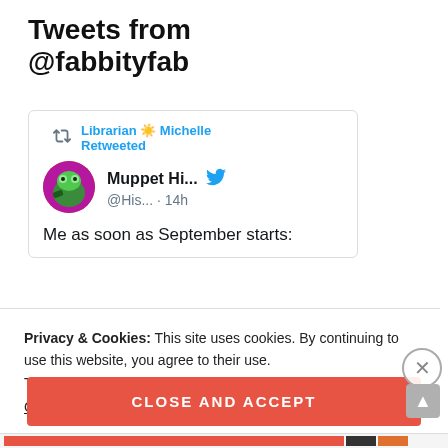Tweets from @fabbityfab
[Figure (screenshot): Embedded tweet card showing a retweet by Librarian Michelle of Muppet Hi... (@His... · 14h) with text 'Me as soon as September starts:' and a partial nature image below]
Privacy & Cookies: This site uses cookies. By continuing to use this website, you agree to their use.
To find out more, including how to control cookies, see here:
Cookie Policy
CLOSE AND ACCEPT